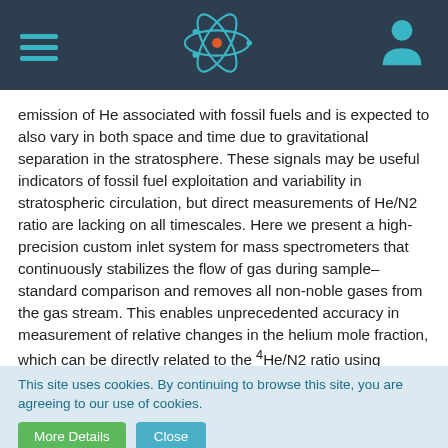Navigation header with hamburger menu, atom icon, and user icon
emission of He associated with fossil fuels and is expected to also vary in both space and time due to gravitational separation in the stratosphere. These signals may be useful indicators of fossil fuel exploitation and variability in stratospheric circulation, but direct measurements of He/N2 ratio are lacking on all timescales. Here we present a high-precision custom inlet system for mass spectrometers that continuously stabilizes the flow of gas during sample–standard comparison and removes all non-noble gases from the gas stream. This enables unprecedented accuracy in measurement of relative changes in the helium mole fraction, which can be directly related to the 4He/N2 ratio using supplementary measurements of O2/N2, Ar/N2 and CO2. Repeat measurements of the same combination of high-pressure tanks using our inlet system achieves a He/N2 reproducibility of ~ 10 per meg (i.e., 0.001%) in 6–8 h analyses. This compares to
This site uses cookies. By continuing to browse this site, you are agreeing to our use of cookies.